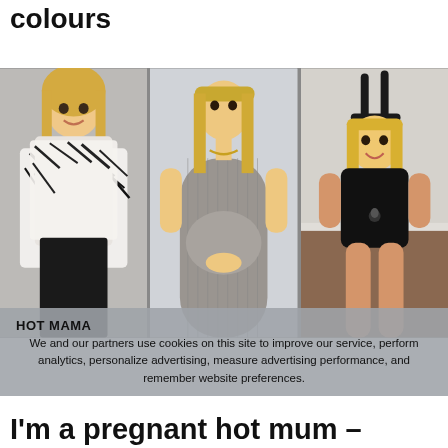colours
[Figure (photo): Three photos of a blonde woman: left photo in zebra-print jacket, middle photo in grey ribbed maternity dress holding baby bump, right photo in black Playboy bunny costume with ears]
HOT MAMA
We and our partners use cookies on this site to improve our service, perform analytics, personalize advertising, measure advertising performance, and remember website preferences.
I'm a pregnant hot mum –